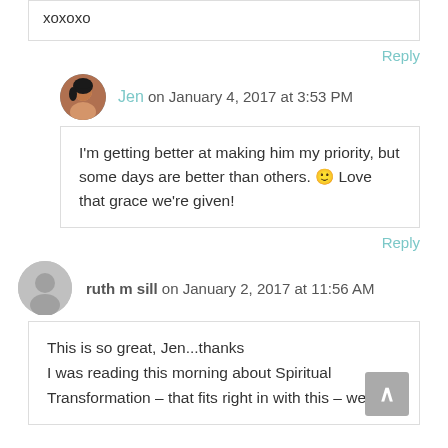xoxoxo
Reply
Jen on January 4, 2017 at 3:53 PM
I'm getting better at making him my priority, but some days are better than others. 🙂 Love that grace we're given!
Reply
ruth m sill on January 2, 2017 at 11:56 AM
This is so great, Jen...thanks
I was reading this morning about Spiritual Transformation – that fits right in with this – we